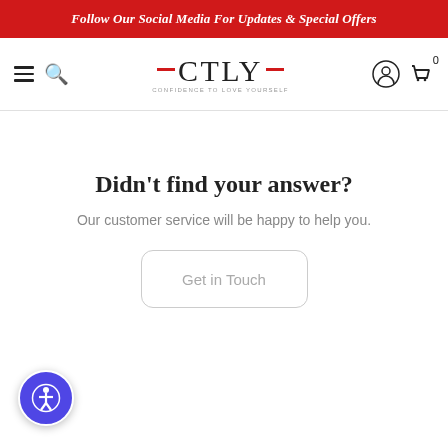Follow Our Social Media For Updates & Special Offers
[Figure (logo): CTLY brand logo with red horizontal lines flanking the letters, tagline CONFIDENCE TO LOVE YOURSELF below]
Didn't find your answer?
Our customer service will be happy to help you.
Get in Touch